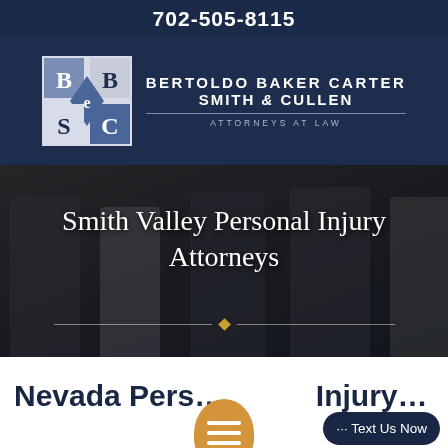702-505-8115
[Figure (logo): Bertoldo Baker Carter Smith & Cullen law firm logo with geometric B, E, S, C diamond grid icon and firm name text]
[Figure (photo): Group of attorneys walking outdoors in professional attire with a dark overlay]
Smith Valley Personal Injury Attorneys
Nevada Pers... Injury...
[Figure (other): Orange chat/message bubble button with three white horizontal lines]
··· Text Us Now